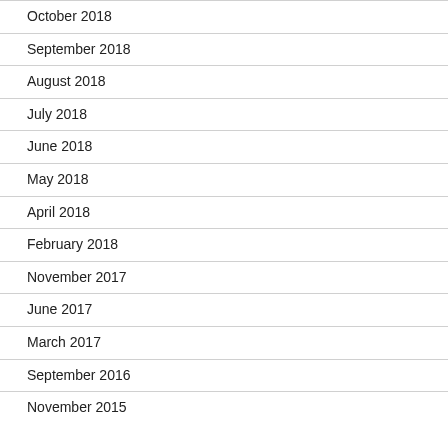October 2018
September 2018
August 2018
July 2018
June 2018
May 2018
April 2018
February 2018
November 2017
June 2017
March 2017
September 2016
November 2015